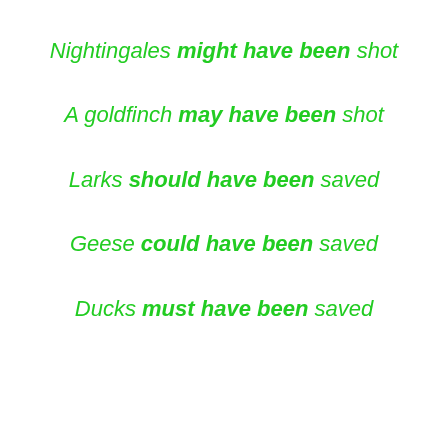Nightingales might have been shot
A goldfinch may have been shot
Larks should have been saved
Geese could have been saved
Ducks must have been saved